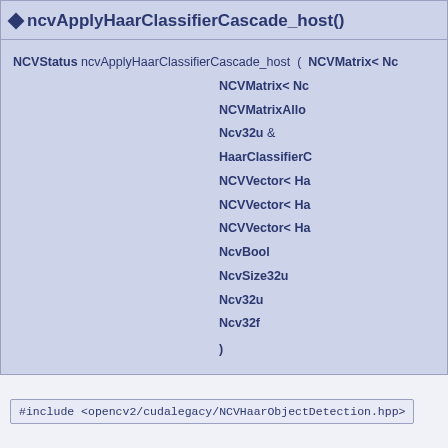ncvApplyHaarClassifierCascade_host()
NCVStatus ncvApplyHaarClassifierCascade_host ( NCVMatrix< Nc NCVMatrix< Nc NCVMatrixAllo Ncv32u & HaarClassifierC NCVVector< Ha NCVVector< Ha NCVVector< Ha NcvBool NcvSize32u Ncv32u Ncv32f )
#include <opencv2/cudalegacy/NCVHaarObjectDetection.hpp>